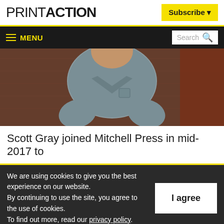PRINTACTION
Subscribe
MENU
[Figure (photo): A man in a grey button-up shirt standing in front of a wooden background, photographed from the torso up.]
Scott Gray joined Mitchell Press in mid-2017 to
We are using cookies to give you the best experience on our website.
By continuing to use the site, you agree to the use of cookies.
To find out more, read our privacy policy.
I agree